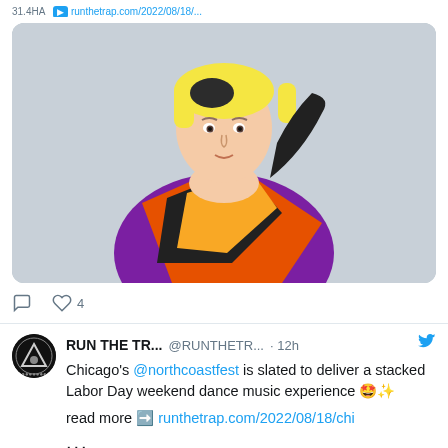runthetrap.com/2022/08/18/...
[Figure (photo): Young man with blonde hair wearing a colorful purple, orange and black patterned sweater, posed with one arm raised behind head against a light gray background]
♡ 4
RUN THE TR... @RUNTHETR... · 12h
Chicago's @northcoastfest is slated to deliver a stacked Labor Day weekend dance music experience 🤩✨

read more ➡️ runthetrap.com/2022/08/18/chi

...